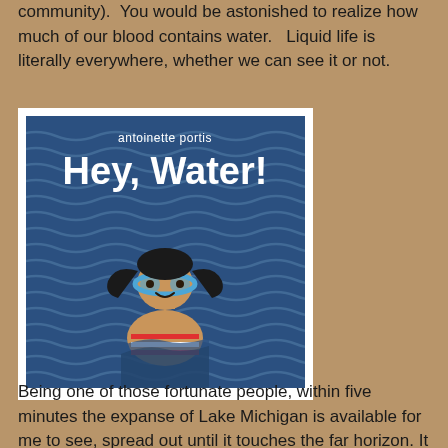community). You would be astonished to realize how much of our blood contains water. Liquid life is literally everywhere, whether we can see it or not.
[Figure (illustration): Book cover of 'Hey, Water!' by Antoinette Portis. Blue wavy water background with white text showing author name 'antoinette portis' and title 'Hey, Water!' in large bold letters. A cartoon girl with black pigtails, blue goggles and a red-and-white striped swimsuit is shown partially submerged in water.]
Being one of those fortunate people, within five minutes the expanse of Lake Michigan is available for me to see, spread out until it touches the far horizon. It is both a humbling and joyful moment. Hey, Water! (Neal Porter Books, Holiday House